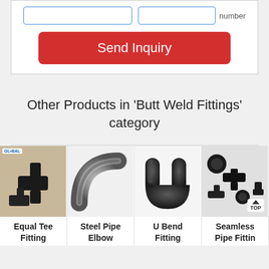[Figure (screenshot): Top portion of a web inquiry form with two input fields and a red 'Send Inquiry' button]
Other Products in 'Butt Weld Fittings' category
[Figure (photo): Equal Tee Fitting - black butt weld pipe tee fittings on sandy background with Global logo]
[Figure (photo): Steel Pipe Elbow - grey metallic 90-degree pipe elbow on white background]
[Figure (photo): U Bend Fitting - matte black U-bend pipe fitting on white background]
[Figure (photo): Seamless Pipe Fitting - black pipe fittings assortment with TOP badge]
Equal Tee Fitting
Steel Pipe Elbow
U Bend Fitting
Seamless Pipe Fittin